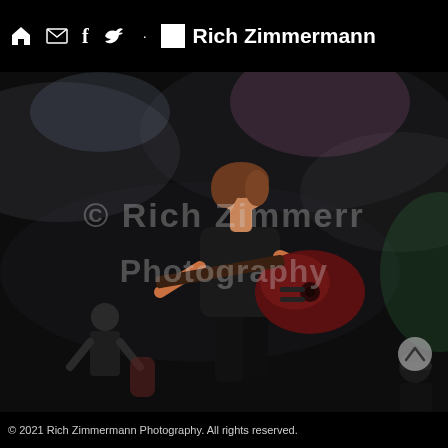Rich Zimmermann Photography — navigation bar with home, email, facebook, twitter icons
[Figure (photo): Concert photograph of a guitarist in a black t-shirt playing a dark red electric guitar on a dark smoky stage with colorful stage lights. A watermark reading '© Rich Zimmermann Photography' overlays the image. Other band members are visible in the background.]
© 2021 Rich Zimmermann Photography. All rights reserved.